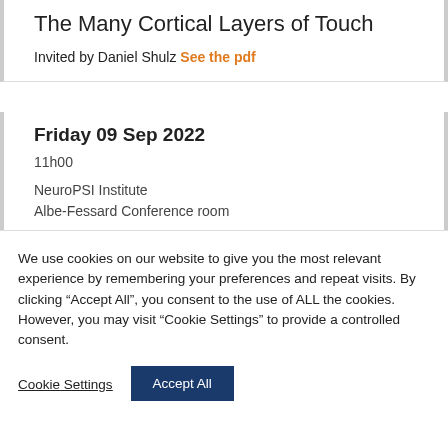The Many Cortical Layers of Touch
Invited by Daniel Shulz See the pdf
Friday 09 Sep 2022
11h00
NeuroPSI Institute
Albe-Fessard Conference room
We use cookies on our website to give you the most relevant experience by remembering your preferences and repeat visits. By clicking “Accept All”, you consent to the use of ALL the cookies. However, you may visit “Cookie Settings” to provide a controlled consent.
Cookie Settings
Accept All